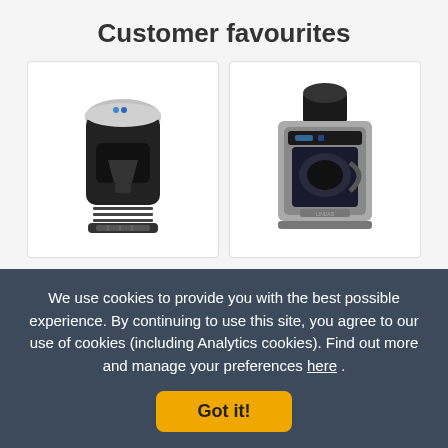Customer favourites
[Figure (photo): Black and silver capsule coffee machine, front view on white background]
[Figure (photo): Compact silver and black grind-and-brew coffee maker with glass carafe, front view on white background]
We use cookies to provide you with the best possible experience. By continuing to use this site, you agree to our use of cookies (including Analytics cookies). Find out more and manage your preferences here .
Got it!